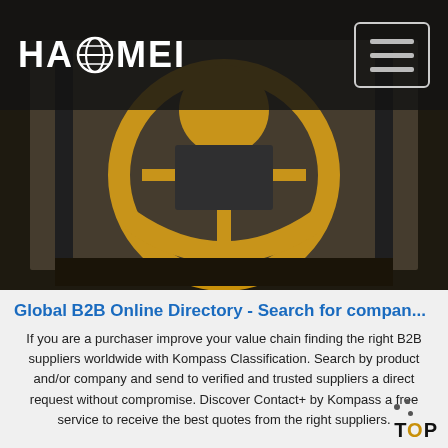[Figure (screenshot): Website screenshot showing HAOMEI logo with globe icon on dark header, hamburger menu icon top right, and a product photo of a yellow industrial wheel/drum machine wrapped in plastic on a pallet.]
Global B2B Online Directory - Search for compan...
If you are a purchaser improve your value chain finding the right B2B suppliers worldwide with Kompass Classification. Search by product and/or company and send to verified and trusted suppliers a direct request without compromise. Discover Contact+ by Kompass a free service to receive the best quotes from the right suppliers.